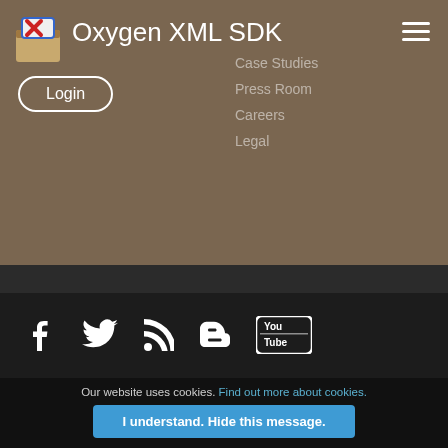Oxygen XML SDK
[Figure (logo): Oxygen XML SDK app icon logo - red X on box]
Oxygen XML SDK
Login
Case Studies
Press Room
Careers
Legal
[Figure (infographic): Social media icons: Facebook, Twitter, RSS, Blogger, YouTube]
© 2002-2022 SyncRO Soft SRL. All rights reserved.
Sitemap | Terms of Use | Privacy Policy
This website was created & generated with <oXygen/>® XML
Our website uses cookies. Find out more about cookies.
I understand. Hide this message.